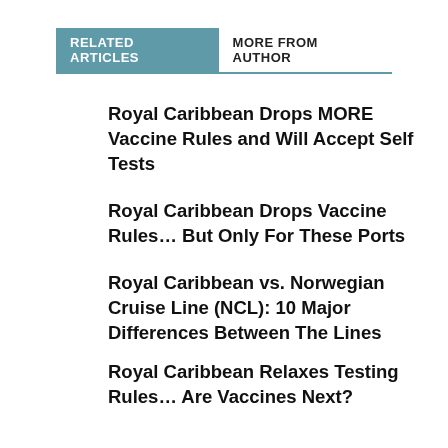RELATED ARTICLES
MORE FROM AUTHOR
Royal Caribbean Drops MORE Vaccine Rules and Will Accept Self Tests
Royal Caribbean Drops Vaccine Rules… But Only For These Ports
Royal Caribbean vs. Norwegian Cruise Line (NCL): 10 Major Differences Between The Lines
Royal Caribbean Relaxes Testing Rules… Are Vaccines Next?